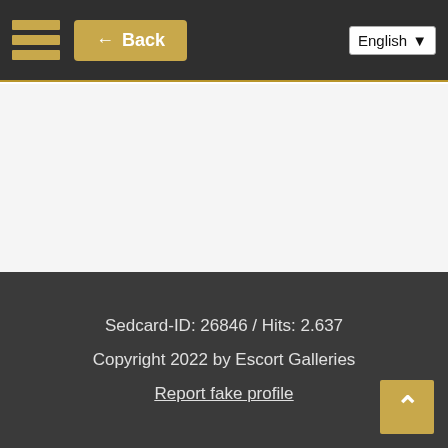← Back | English
Sedcard-ID: 26846 / Hits: 2.637
Copyright 2022 by Escort Galleries
Report fake profile
↑ scroll to top